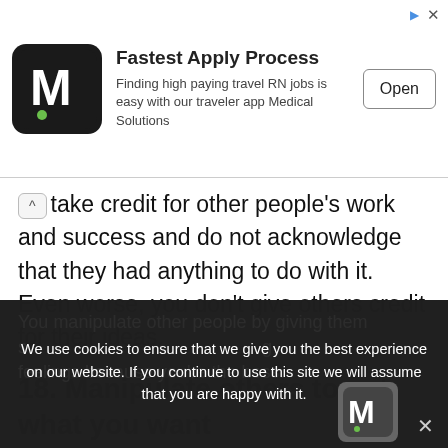[Figure (screenshot): Advertisement banner for Medical Solutions app showing M logo, 'Fastest Apply Process' heading, description text about travel RN jobs, and an Open button]
take credit for other people's work and success and do not acknowledge that they had anything to do with it. Even worse, you don't give others credit for their ideas.
18. Manipulate others to get what you want
You manipulate other people by giving them s                                                g feelings because you're the boss.
We use cookies to ensure that we give you the best experience on our website. If you continue to use this site we will assume that you are happy with it.